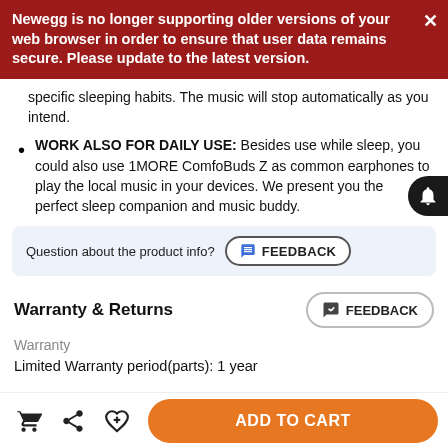Newegg is no longer supporting older versions of your web browser in order to ensure that user data remains secure. Please update to the latest version.
specific sleeping habits. The music will stop automatically as you intend.
WORK ALSO FOR DAILY USE: Besides use while sleep, you could also use 1MORE ComfoBuds Z as common earphones to play the local music in your devices. We present you the perfect sleep companion and music buddy.
Question about the product info? FEEDBACK
Warranty & Returns
Warranty
Limited Warranty period(parts): 1 year